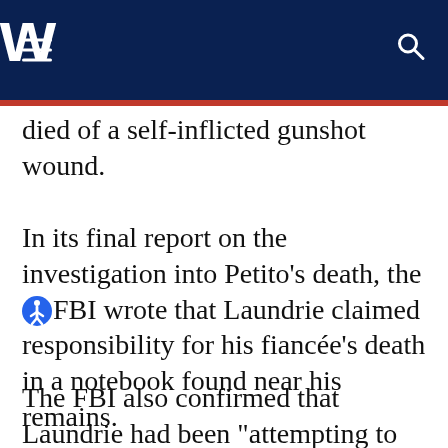W
died of a self-inflicted gunshot wound.
In its final report on the investigation into Petito’s death, the FBI wrote that Laundrie claimed responsibility for his fiancée’s death in a notebook found near his remains.
The FBI also confirmed that Laundrie had been “attempting to deceive law enforcement by giving